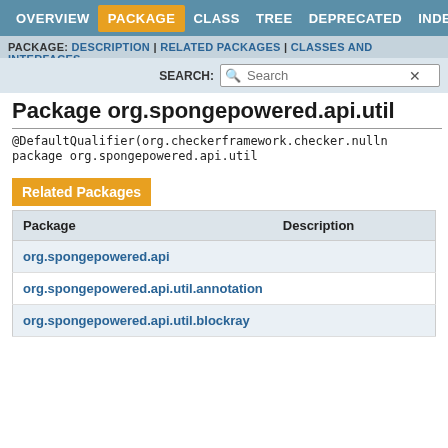OVERVIEW | PACKAGE | CLASS | TREE | DEPRECATED | INDEX | HELP
PACKAGE: DESCRIPTION | RELATED PACKAGES | CLASSES AND INTERFACES
Package org.spongepowered.api.util
@DefaultQualifier(org.checkerframework.checker.nulln
package org.spongepowered.api.util
Related Packages
| Package | Description |
| --- | --- |
| org.spongepowered.api |  |
| org.spongepowered.api.util.annotation |  |
| org.spongepowered.api.util.blockray |  |